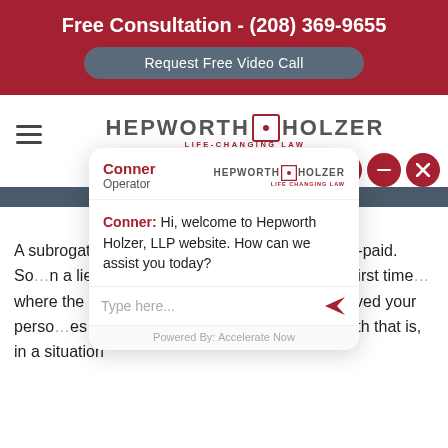Free Consultation - (208) 369-9655
Request Free Video Call
[Figure (logo): Hepworth Holzer Life-Changing Law logo with hamburger menu icon]
[Figure (screenshot): Chat popup from Conner, Operator at Hepworth Holzer. Message: Hi, welcome to Hepworth Holzer, LLP website. How can we assist you today? Input field: Type here...  Powered By: Accelerate Now]
A subrogat... rs use in Boise, Idah... right to be re-paid. So... n a lien – that means a right to be paid the first time... where the physician c... nt, I'll provide the... resolved your perso... es I've provided."One of the problems with that is, in a situation